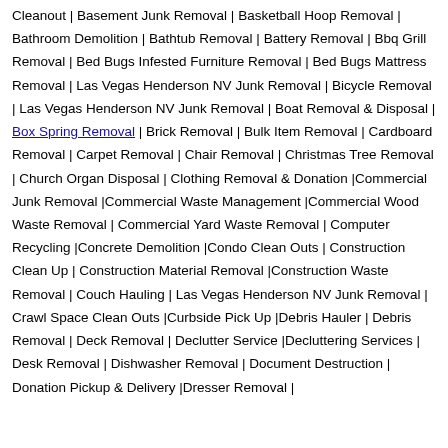Cleanout | Basement Junk Removal | Basketball Hoop Removal | Bathroom Demolition | Bathtub Removal | Battery Removal | Bbq Grill Removal | Bed Bugs Infested Furniture Removal | Bed Bugs Mattress Removal | Las Vegas Henderson NV Junk Removal | Bicycle Removal | Las Vegas Henderson NV Junk Removal | Boat Removal & Disposal | Box Spring Removal | Brick Removal | Bulk Item Removal | Cardboard Removal | Carpet Removal | Chair Removal | Christmas Tree Removal | Church Organ Disposal | Clothing Removal & Donation |Commercial Junk Removal |Commercial Waste Management |Commercial Wood Waste Removal | Commercial Yard Waste Removal | Computer Recycling |Concrete Demolition |Condo Clean Outs | Construction Clean Up | Construction Material Removal |Construction Waste Removal | Couch Hauling | Las Vegas Henderson NV Junk Removal | Crawl Space Clean Outs |Curbside Pick Up |Debris Hauler | Debris Removal | Deck Removal | Declutter Service |Decluttering Services | Desk Removal | Dishwasher Removal | Document Destruction | Donation Pickup & Delivery |Dresser Removal |